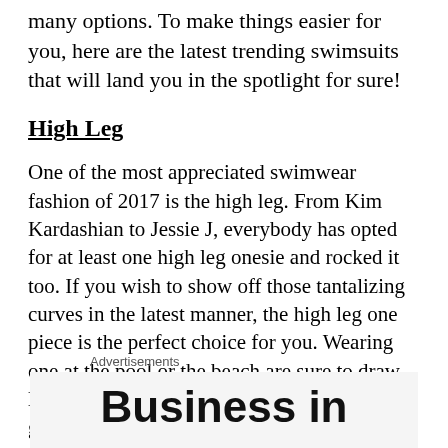many options. To make things easier for you, here are the latest trending swimsuits that will land you in the spotlight for sure!
High Leg
One of the most appreciated swimwear fashion of 2017 is the high leg. From Kim Kardashian to Jessie J, everybody has opted for at least one high leg onesie and rocked it too. If you wish to show off those tantalizing curves in the latest manner, the high leg one piece is the perfect choice for you. Wearing one at the pool or the beach are sure to draw lots of attention and will up your fashion game for sure.
Advertisements
Business in